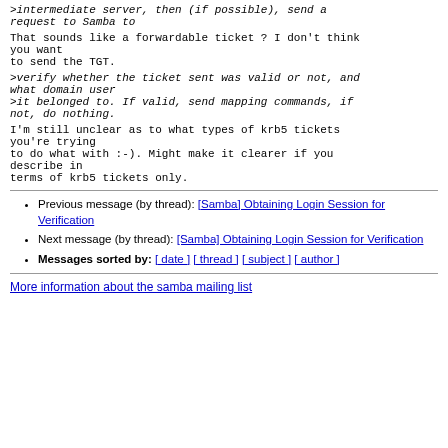>intermediate server, then (if possible), send a request to Samba to
That sounds like a forwardable ticket ? I don't think you want
to send the TGT.
>verify whether the ticket sent was valid or not, and what domain user
>it belonged to. If valid, send mapping commands, if not, do nothing.
I'm still unclear as to what types of krb5 tickets you're trying
to do what with :-). Might make it clearer if you describe in
terms of krb5 tickets only.
Previous message (by thread): [Samba] Obtaining Login Session for Verification
Next message (by thread): [Samba] Obtaining Login Session for Verification
Messages sorted by: [ date ] [ thread ] [ subject ] [ author ]
More information about the samba mailing list